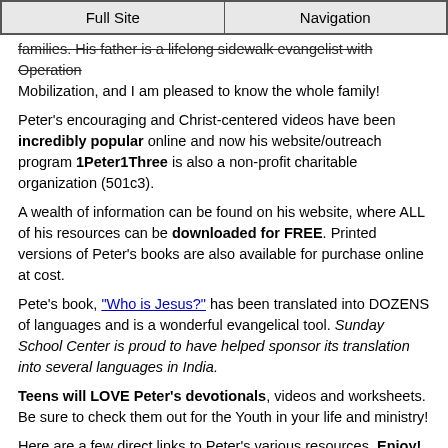Full Site | Navigation
families. His father is a lifelong sidewalk evangelist with Operation Mobilization, and I am pleased to know the whole family!
Peter's encouraging and Christ-centered videos have been incredibly popular online and now his website/outreach program 1Peter1Three is also a non-profit charitable organization (501c3).
A wealth of information can be found on his website, where ALL of his resources can be downloaded for FREE. Printed versions of Peter's books are also available for purchase online at cost.
Pete's book, "Who is Jesus?" has been translated into DOZENS of languages and is a wonderful evangelical tool. Sunday School Center is proud to have helped sponsor its translation into several languages in India.
Teens will LOVE Peter's devotionals, videos and worksheets. Be sure to check them out for the Youth in your life and ministry!
Here are a few direct links to Peter's various resources. Enjoy!
First Steps (New Believers)
Pre-K/Elementary
Middle Schoolers